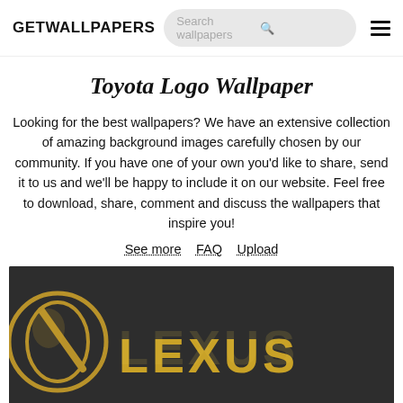GETWALLPAPERS | Search wallpapers
Toyota Logo Wallpaper
Looking for the best wallpapers? We have an extensive collection of amazing background images carefully chosen by our community. If you have one of your own you'd like to share, send it to us and we'll be happy to include it on our website. Feel free to download, share, comment and discuss the wallpapers that inspire you!
See more   FAQ   Upload
[Figure (photo): Lexus logo in gold color on a dark gray/charcoal background, showing the stylized L emblem circle and the LEXUS wordmark in metallic gold letters]